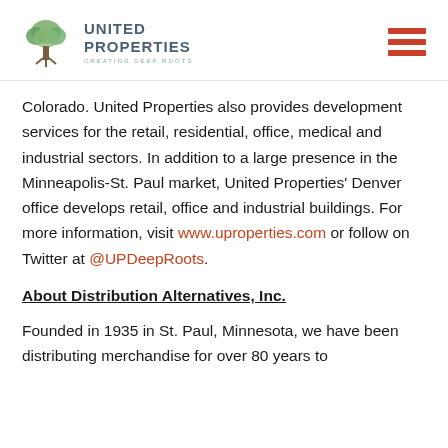[Figure (logo): United Properties logo with tree graphic and text 'UNITED PROPERTIES CREATING DEEP ROOTS', plus hamburger menu icon]
Colorado. United Properties also provides development services for the retail, residential, office, medical and industrial sectors. In addition to a large presence in the Minneapolis-St. Paul market, United Properties' Denver office develops retail, office and industrial buildings. For more information, visit www.uproperties.com or follow on Twitter at @UPDeepRoots.
About Distribution Alternatives, Inc.
Founded in 1935 in St. Paul, Minnesota, we have been distributing merchandise for over 80 years to